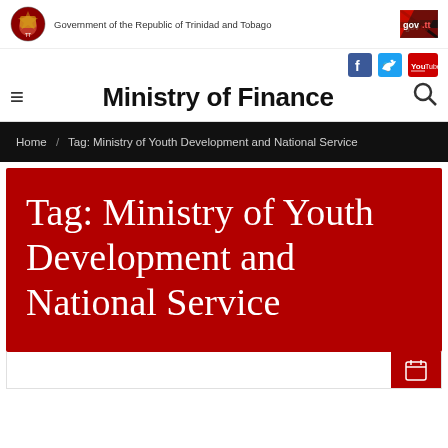Government of the Republic of Trinidad and Tobago
Ministry of Finance
Home / Tag: Ministry of Youth Development and National Service
Tag: Ministry of Youth Development and National Service